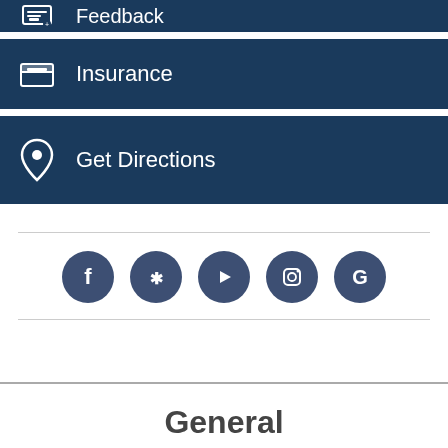Feedback
Insurance
Get Directions
[Figure (infographic): Row of five social media icon circles: Facebook, Yelp, YouTube, Instagram, Google]
General
Home